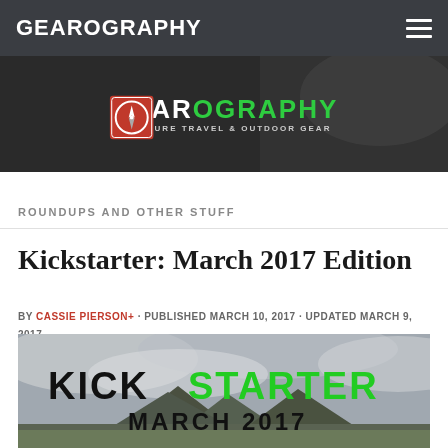GEAROGRAPHY
[Figure (logo): Gearography logo with compass icon, brand name and tagline 'Adventure Travel & Outdoor Gear' on dark banner background]
ROUNDUPS AND OTHER STUFF
Kickstarter: March 2017 Edition
BY CASSIE PIERSON+ · PUBLISHED MARCH 10, 2017 · UPDATED MARCH 9, 2017
[Figure (photo): Kickstarter March 2017 promotional image with bold text 'KICKSTARTER' (KICK in black, STARTER in green) and 'MARCH 2017' over a mountain landscape with cloudy sky]